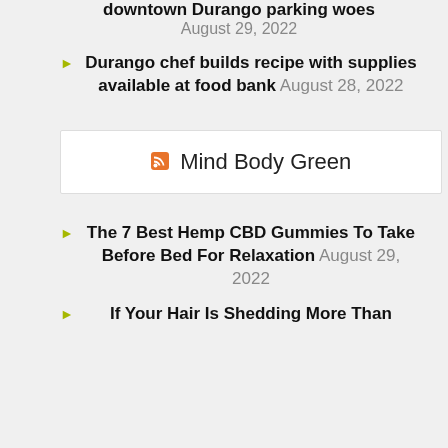downtown Durango parking woes August 29, 2022
Durango chef builds recipe with supplies available at food bank August 28, 2022
Mind Body Green
The 7 Best Hemp CBD Gummies To Take Before Bed For Relaxation August 29, 2022
If Your Hair Is Shedding More Than